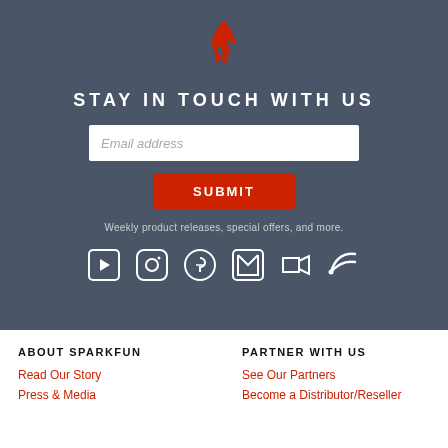[Figure (logo): Red flame/fire icon (SparkFun logo)]
STAY IN TOUCH WITH US
Email address
SUBMIT
Weekly product releases, special offers, and more.
[Figure (infographic): Social media icons row: YouTube, Instagram, GitHub, Facebook, Twitter, RSS]
ABOUT SPARKFUN
Read Our Story
Press & Media
PARTNER WITH US
See Our Partners
Become a Distributor/Reseller